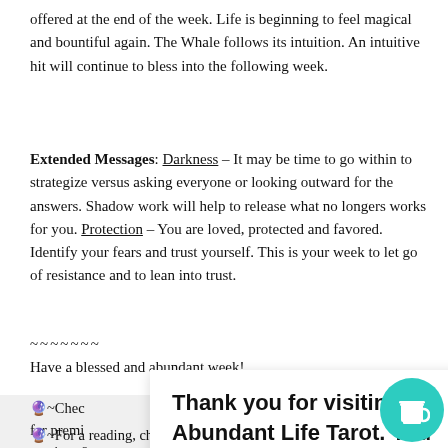offered at the end of the week. Life is beginning to feel magical and bountiful again. The Whale follows its intuition. An intuitive hit will continue to bless into the following week.
Extended Messages: Darkness – It may be time to go within to strategize versus asking everyone or looking outward for the answers. Shadow work will help to release what no longers works for you. Protection – You are loved, protected and favored. Identify your fears and trust yourself. This is your week to let go of resistance and to lean into trust.
~~~~~~~
Have a blessed and abundant week!
🔮~Check out our membership for premium coaching services and...
Thank you for visiting Abundant Life Tarot. You can now buy me a coffee!
🔮~For a reading, check out: